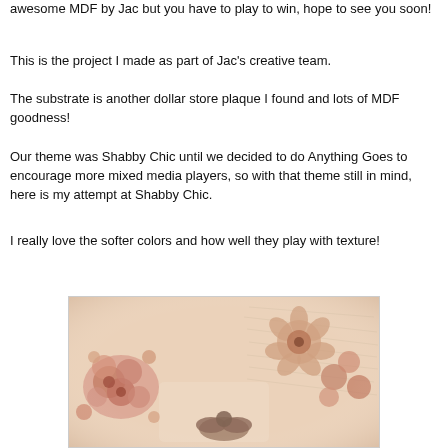awesome MDF by Jac but you have to play to win, hope to see you soon!
This is the project I made as part of Jac's creative team.
The substrate is another dollar store plaque I found and lots of MDF goodness!
Our theme was Shabby Chic until we decided to do Anything Goes to encourage more mixed media players,  so with that theme still in mind, here is my attempt at Shabby Chic.
I really love the softer colors and how well they play with texture!
[Figure (photo): A Shabby Chic mixed media plaque decorated with MDF roses, flowers, and decorative elements in soft pink and brown tones with a cursive script background.]